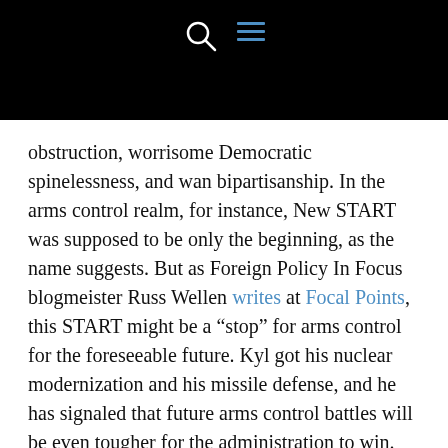[Navigation bar with search and menu icons]
obstruction, worrisome Democratic spinelessness, and wan bipartisanship. In the arms control realm, for instance, New START was supposed to be only the beginning, as the name suggests. But as Foreign Policy In Focus blogmeister Russ Wellen writes at Focal Points, this START might be a “stop” for arms control for the foreseeable future. Kyl got his nuclear modernization and his missile defense, and he has signaled that future arms control battles will be even tougher for the administration to win.
And the North Koreans? They’re sounding a